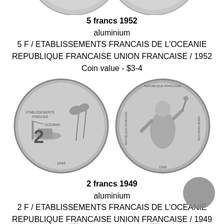[Figure (photo): Top partial view of two coins (cropped at top edge)]
5 francs 1952
aluminium
5 F / ETABLISSEMENTS FRANCAIS DE L'OCEANIE
REPUBLIQUE FRANCAISE UNION FRANCAISE / 1952
Coin value - $3-4
[Figure (photo): Two aluminium coins side by side: left coin shows '2 ETABLISSEMENTS FRANCAIS OCEANIE' harbor scene; right coin shows seated Marianne figure with 'REPUBLIQUE FRANCAISE UNION FRANCAISE 1949']
2 francs 1949
aluminium
2 F / ETABLISSEMENTS FRANCAIS DE L'OCEANIE
REPUBLIQUE FRANCAISE UNION FRANCAISE / 1949
Coin value - $4-6
[Figure (photo): Bottom partial view of coins (cropped at bottom edge)]